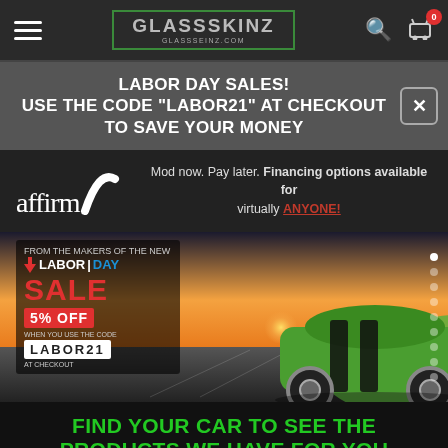GlassSkinz - glassskinz.com
LABOR DAY SALES! USE THE CODE "LABOR21" AT CHECKOUT TO SAVE YOUR MONEY
[Figure (logo): Affirm logo with arc graphic. Text: Mod now. Pay later. Financing options available for virtually ANYONE!]
[Figure (photo): Labor Day Sale banner with a green Dodge Challenger on a racetrack at sunset. Sale overlay text: LABOR DAY SALE 5% OFF use code LABOR21 at checkout]
FIND YOUR CAR TO SEE THE PRODUCTS WE HAVE FOR YOU